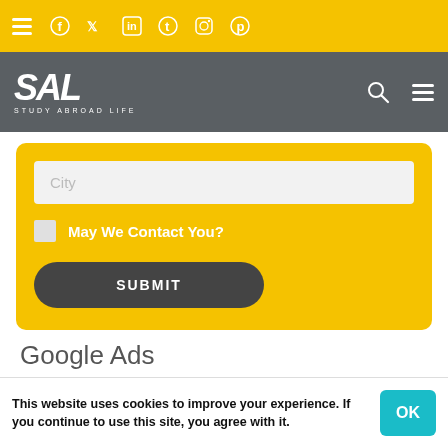Study Abroad Life — SAL navigation and social icons header
[Figure (screenshot): City input field, May We Contact You checkbox, and SUBMIT button on a yellow form card]
Google Ads
Recent Articles
This website uses cookies to improve your experience. If you continue to use this site, you agree with it.